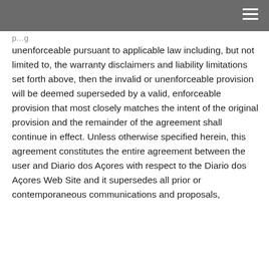unenforceable pursuant to applicable law including, but not limited to, the warranty disclaimers and liability limitations set forth above, then the invalid or unenforceable provision will be deemed superseded by a valid, enforceable provision that most closely matches the intent of the original provision and the remainder of the agreement shall continue in effect. Unless otherwise specified herein, this agreement constitutes the entire agreement between the user and Diario dos Açores with respect to the Diario dos Açores Web Site and it supersedes all prior or contemporaneous communications and proposals,